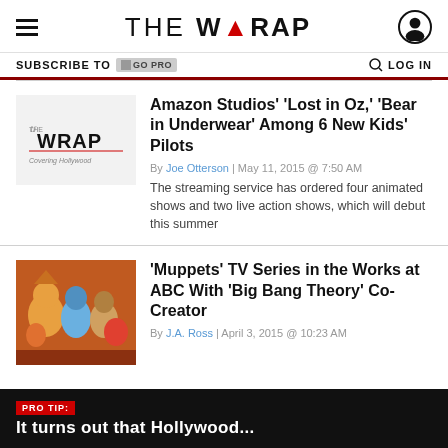THE WRAP
SUBSCRIBE TO GO PRO   LOG IN
[Figure (illustration): TheWrap logo placeholder thumbnail - 'THE WRAP Covering Hollywood']
Amazon Studios’ ‘Lost in Oz,’ ‘Bear in Underwear’ Among 6 New Kids’ Pilots
By Joe Otterson | May 11, 2015 @ 7:50 AM
The streaming service has ordered four animated shows and two live action shows, which will debut this summer
[Figure (photo): Muppets characters group photo with Fozzie Bear, Gonzo and others]
‘Muppets’ TV Series in the Works at ABC With ‘Big Bang Theory’ Co-Creator
By J.A. Ross | April 3, 2015 @ 10:23 AM
PRO TIP: It turns out that Hollywood...